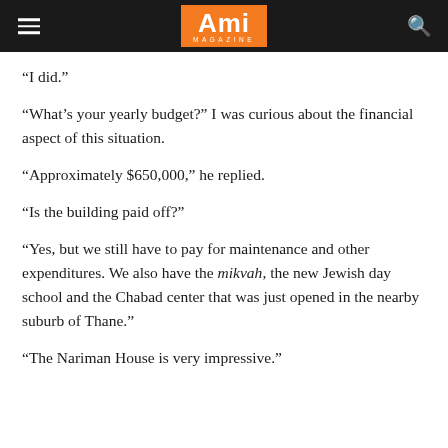Ami Magazine
“I did.”
“What’s your yearly budget?” I was curious about the financial aspect of this situation.
“Approximately $650,000,” he replied.
“Is the building paid off?”
“Yes, but we still have to pay for maintenance and other expenditures. We also have the mikvah, the new Jewish day school and the Chabad center that was just opened in the nearby suburb of Thane.”
“The Nariman House is very impressive.”